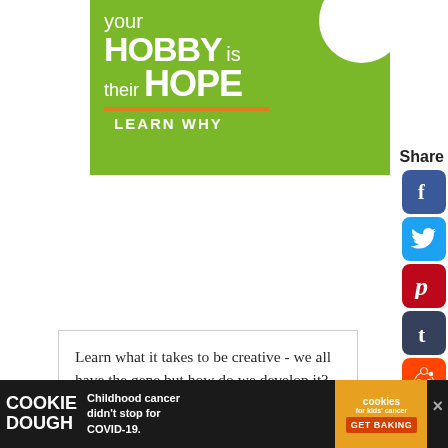[Figure (illustration): Green advertisement banner with white text reading 'your HOBBY is their HOPE LEARN WHY' with an orange underline and a white circle in the top right corner showing a hand.]
Share
[Figure (infographic): Vertical stack of social media share buttons: Facebook (blue), Twitter (blue), Pinterest (red), Tumblr (dark blue), Reddit (orange), and a heart/like button and share button below.]
Learn what it takes to be creative - we all have the gene but how do we develop it? Get the free guide! Fill in the form below for your copy; (Don't be disappointed - use an email address that will accept the free download - some
[Figure (infographic): Bottom advertisement bar: Cookie Dough brand ad with text 'Childhood cancer didn't stop for COVID-19.' and a cookies for kids cancer logo with 'GET BAKING' button.]